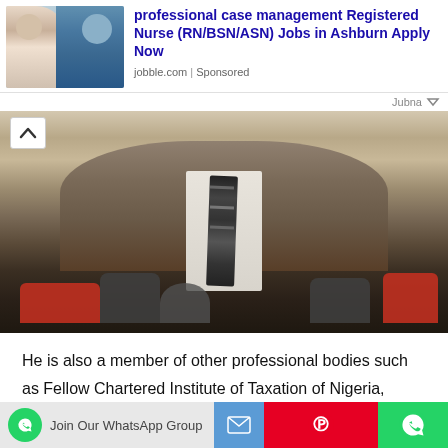[Figure (photo): Advertisement banner showing a nurse with a patient, promoting case management Registered Nurse jobs in Ashburn]
professional case management Registered Nurse (RN/BSN/ASN) Jobs in Ashburn Apply Now
jobble.com | Sponsored
Jubna
[Figure (photo): Photo of a man in a suit and tie at a press conference with multiple microphones in front of him]
He is also a member of other professional bodies such as Fellow Chartered Institute of Taxation of Nigeria, Certified Institute of Cost Management of Nigeria and Association of Certified Fraud Examiners, Pro-tem Council Member of Chartered Institute of Forensic And Investigative Auditors of Nigeria (CIFIAN).
[Figure (infographic): Bottom navigation bar with WhatsApp join group button, email icon, Pinterest icon, and WhatsApp share icon on colored backgrounds]